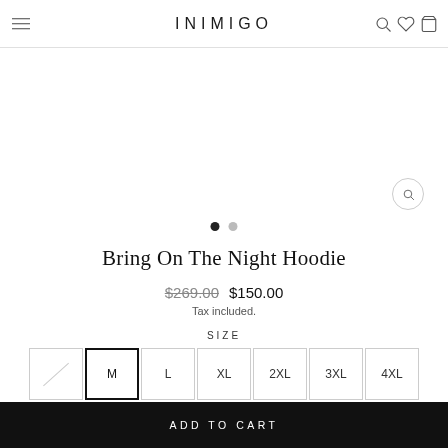INIMIGO
[Figure (illustration): Product image area (blank/white) with zoom magnifier button overlay]
• •  (image carousel dots, one active)
Bring On The Night Hoodie
$269.00  $150.00
Tax included.
SIZE
S (disabled)  M (selected)  L  XL  2XL  3XL  4XL
ADD TO CART